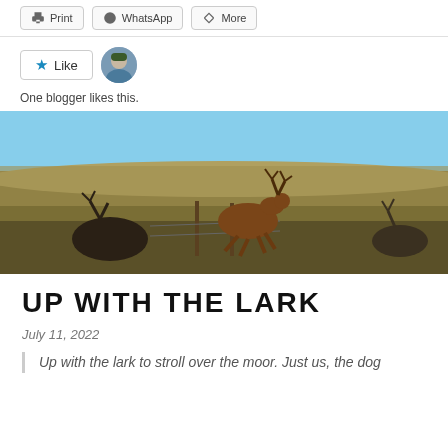Print | WhatsApp | More
Like | One blogger likes this.
[Figure (photo): A stag deer leaping over a wire fence in a grassy moorland field under a clear blue sky, with other deer visible on either side.]
UP WITH THE LARK
July 11, 2022
Up with the lark to stroll over the moor. Just us, the dog